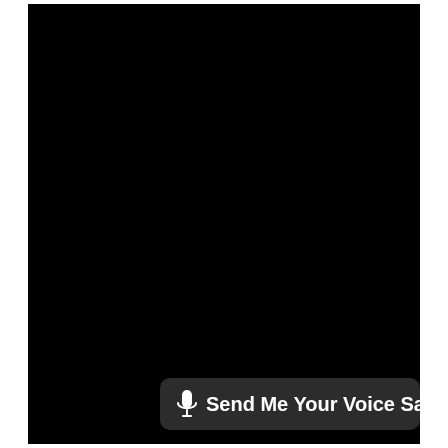[Figure (screenshot): Black screen area — appears to be a darkened or off display/camera view]
🎤 Send Me Your Voice Sa...